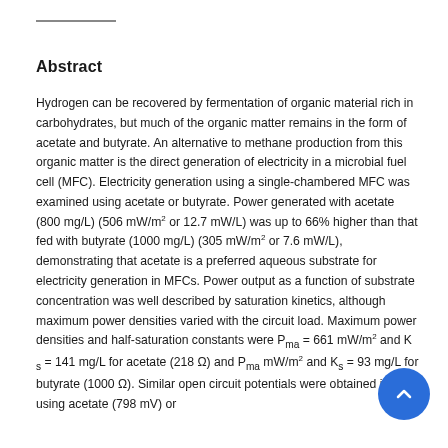Abstract
Hydrogen can be recovered by fermentation of organic material rich in carbohydrates, but much of the organic matter remains in the form of acetate and butyrate. An alternative to methane production from this organic matter is the direct generation of electricity in a microbial fuel cell (MFC). Electricity generation using a single-chambered MFC was examined using acetate or butyrate. Power generated with acetate (800 mg/L) (506 mW/m² or 12.7 mW/L) was up to 66% higher than that fed with butyrate (1000 mg/L) (305 mW/m² or 7.6 mW/L), demonstrating that acetate is a preferred aqueous substrate for electricity generation in MFCs. Power output as a function of substrate concentration was well described by saturation kinetics, although maximum power densities varied with the circuit load. Maximum power densities and half-saturation constants were P_ma = 661 mW/m² and K s = 141 mg/L for acetate (218 Ω) and P_ma mW/m² and K_s = 93 mg/L for butyrate (1000 Ω). Similar open circuit potentials were obtained in using acetate (798 mV) or